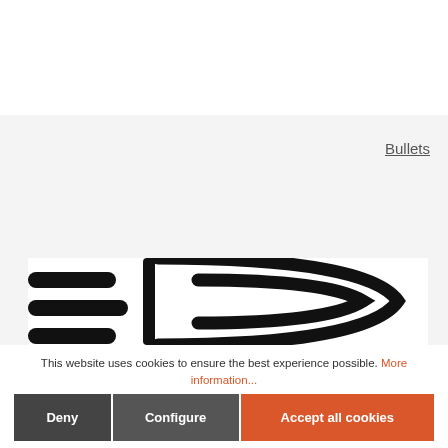[Figure (logo): Partial logo/icon showing thick black rounded horizontal bars on the left and a large curved arc shape on the right, on a white background within a light gray panel area]
Bullets
This website uses cookies to ensure the best experience possible. More information...
Deny
Configure
Accept all cookies